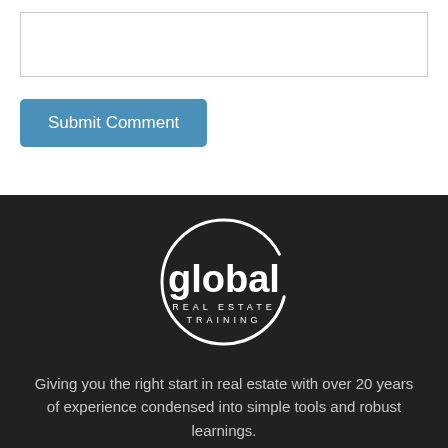[Figure (other): Text input box for comment submission]
Submit Comment
[Figure (logo): Global Real Estate Training logo — white circular arc with 'global' in bold white lowercase and 'REAL ESTATE TRAINING' in small spaced caps below, on dark background]
Giving you the right start in real estate with over 20 years of experience condensed into simple tools and robust learnings.